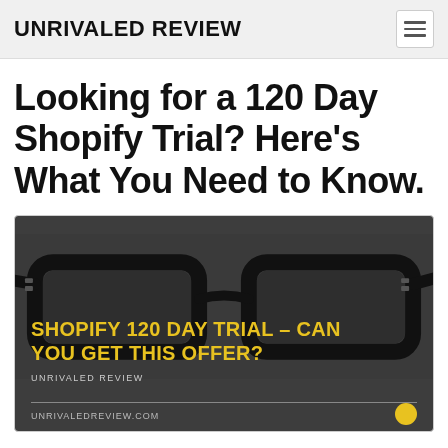UNRIVALED REVIEW
Looking for a 120 Day Shopify Trial? Here’s What You Need to Know.
[Figure (photo): Dark background image with black eyeglasses. Overlay text reads: 'SHOPIFY 120 DAY TRIAL - CAN YOU GET THIS OFFER?' with 'UNRIVALED REVIEW' site name, a horizontal line, and 'UNRIVALDREVIEW.COM' URL, plus a yellow circle dot. Yellow branding text.]